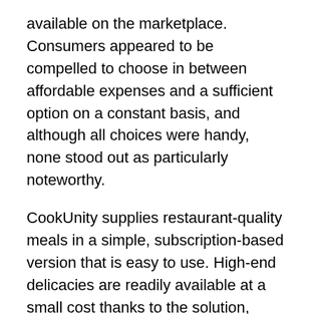available on the marketplace. Consumers appeared to be compelled to choose in between affordable expenses and a sufficient option on a constant basis, and although all choices were handy, none stood out as particularly noteworthy.
CookUnity supplies restaurant-quality meals in a simple, subscription-based version that is easy to use. High-end delicacies are readily available at a small cost thanks to the solution, which links professional cooks with daily consumers. CookUnity advertises itself as being a chef-driven establishment, offering customized meals that differ regular and are created fresh using items purchased from local and also sustainable sources.